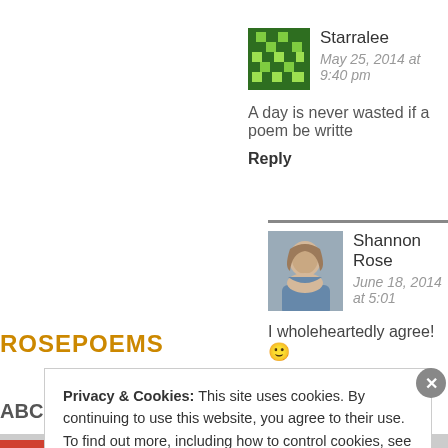Starralee
May 25, 2014 at 9:40 pm
A day is never wasted if a poem be writte...
Reply
Shannon Rose
June 18, 2014 at 5:01
I wholeheartedly agree! 🙂
Reply
ROSEPOEMS
ABC
Privacy & Cookies: This site uses cookies. By continuing to use this website, you agree to their use.
To find out more, including how to control cookies, see here: Cookie Policy
Close and accept